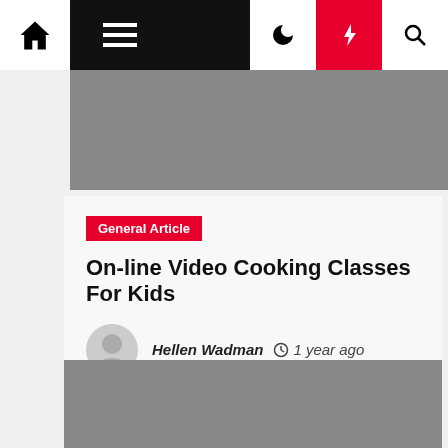Navigation bar with home, menu, dark mode, lightning, and search icons
[Figure (photo): Gray placeholder image strip below navigation]
General Article
On-line Video Cooking Classes For Kids
Hellen Wadman  1 year ago
[Figure (photo): Gray placeholder image at bottom of page]